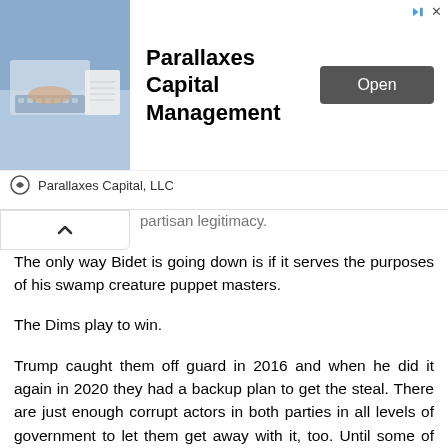[Figure (screenshot): Advertisement banner for Parallaxes Capital Management with an image of hands on a calculator/laptop, bold title text, an Open button, and Parallaxes Capital LLC branding below.]
partisan legitimacy.
The only way Bidet is going down is if it serves the purposes of his swamp creature puppet masters.
The Dims play to win.
Trump caught them off guard in 2016 and when he did it again in 2020 they had a backup plan to get the steal. There are just enough corrupt actors in both parties in all levels of government to let them get away with it, too. Until some of these fools wind up like Mussolini and his girlfriend they'll keep doing it.
"It does not matter how you play the game, it's whether you win or lose." The Demonrats have this tattooed on their foreheads.